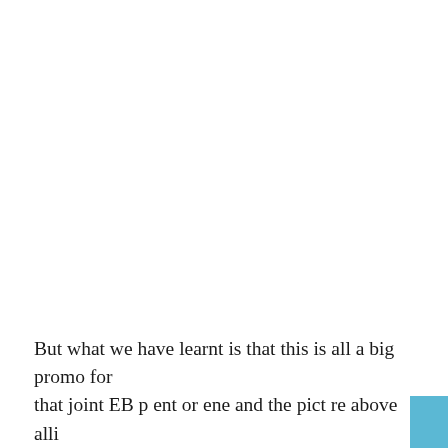But what we have learnt is that this is all a big promo for that joint EB p ent or ene and the pict re above alli